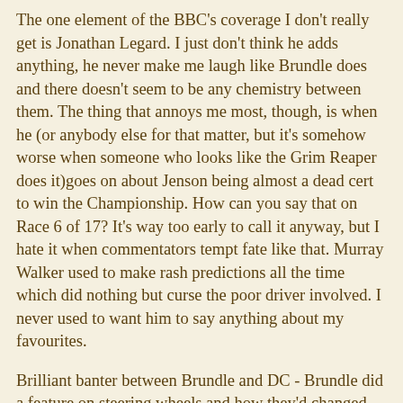The one element of the BBC's coverage I don't really get is Jonathan Legard. I just don't think he adds anything, he never make me laugh like Brundle does and there doesn't seem to be any chemistry between them. The thing that annoys me most, though, is when he (or anybody else for that matter, but it's somehow worse when someone who looks like the Grim Reaper does it)goes on about Jenson being almost a dead cert to win the Championship. How can you say that on Race 6 of 17? It's way too early to call it anyway, but I hate it when commentators tempt fate like that. Murray Walker used to make rash predictions all the time which did nothing but curse the poor driver involved. I never used to want him to say anything about my favourites.
Brilliant banter between Brundle and DC - Brundle did a feature on steering wheels and how they'd changed over the years and said to DC that he'd been around in the days "when you actually had to drive the cars, son."
There was also footage of both Brundle and DC totalling their cars in previous races. I don't remember the Brundle accident, because it was before my time, but it was amazing